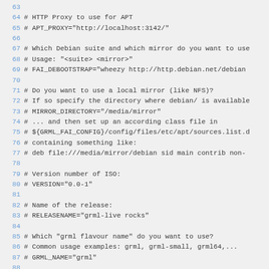63
64 # HTTP Proxy to use for APT
65 # APT_PROXY="http://localhost:3142/"
66
67 # Which Debian suite and which mirror do you want to use
68 # Usage: "<suite> <mirror>"
69 # FAI_DEBOOTSTRAP="wheezy http://http.debian.net/debian"
70
71 # Do you want to use a local mirror (like NFS)?
72 # If so specify the directory where debian/ is available
73 # MIRROR_DIRECTORY="/media/mirror"
74 # ... and then set up an according class file in
75 # ${GRML_FAI_CONFIG}/config/files/etc/apt/sources.list.d
76 # containing something like:
77 # deb file:///media/mirror/debian sid main contrib non-
78
79 # Version number of ISO:
80 # VERSION="0.0-1"
81
82 # Name of the release:
83 # RELEASENAME="grml-live rocks"
84
85 # Which "grml flavour name" do you want to use?
86 # Common usage examples: grml, grml-small, grml64,...
87 # GRML_NAME="grml"
88
89 # Specify hostname of the live-system: